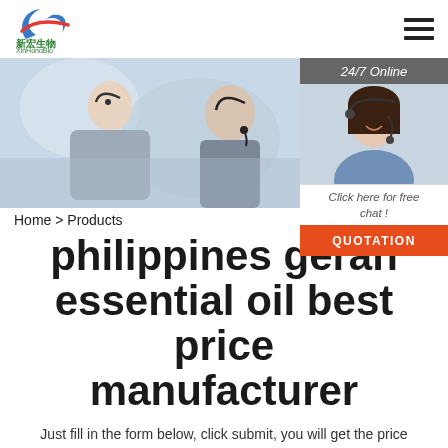[Figure (logo): XinHongBio company logo with Chinese characters 新宏生物 and stylized blue/red swoosh graphic]
[Figure (photo): Hero image of customer service representatives wearing headsets, blurred background office setting]
[Figure (photo): Online chat widget with smiling female customer service agent wearing headset, 24/7 Online label, Click here for free chat text, and orange QUOTATION button]
Home > Products
philippines geran essential oil best price manufacturer
Just fill in the form below, click submit, you will get the price